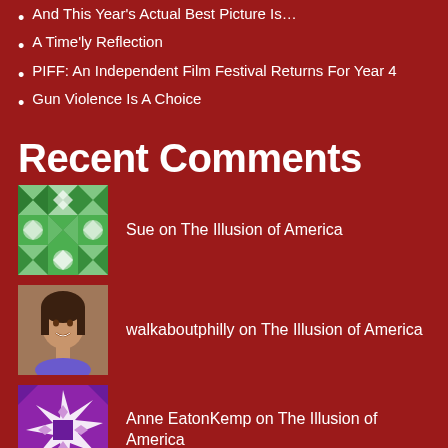And This Year's Actual Best Picture Is…
A Time'ly Reflection
PIFF: An Independent Film Festival Returns For Year 4
Gun Violence Is A Choice
Recent Comments
Sue on The Illusion of America
walkaboutphilly on The Illusion of America
Anne EatonKemp on The Illusion of America